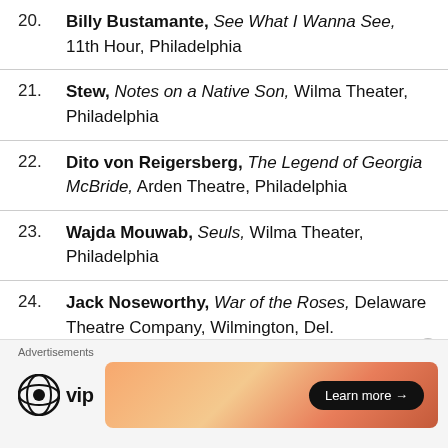20. Billy Bustamante, See What I Wanna See, 11th Hour, Philadelphia
21. Stew, Notes on a Native Son, Wilma Theater, Philadelphia
22. Dito von Reigersberg, The Legend of Georgia McBride, Arden Theatre, Philadelphia
23. Wajda Mouwab, Seuls, Wilma Theater, Philadelphia
24. Jack Noseworthy, War of the Roses, Delaware Theatre Company, Wilmington, Del.